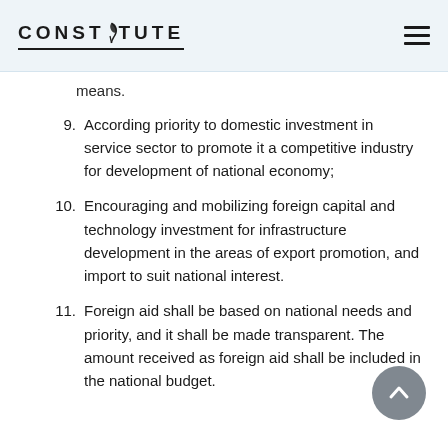CONSTITUTE
means.
9. According priority to domestic investment in service sector to promote it a competitive industry for development of national economy;
10. Encouraging and mobilizing foreign capital and technology investment for infrastructure development in the areas of export promotion, and import to suit national interest.
11. Foreign aid shall be based on national needs and priority, and it shall be made transparent. The amount received as foreign aid shall be included in the national budget.